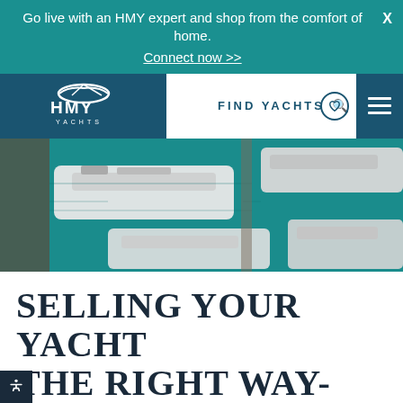Go live with an HMY expert and shop from the comfort of home. Connect now >>
[Figure (logo): HMY Yachts logo on dark blue background with stylized boat icon]
[Figure (screenshot): Website navigation bar with FIND YACHTS search, heart/wishlist icon, and hamburger menu]
[Figure (photo): Aerial/overhead view of luxury yachts docked at a marina, teal water visible]
SELLING YOUR YACHT THE RIGHT WAY- THE HMY WAY
BY HMY   NOVEMBER 5, 2019